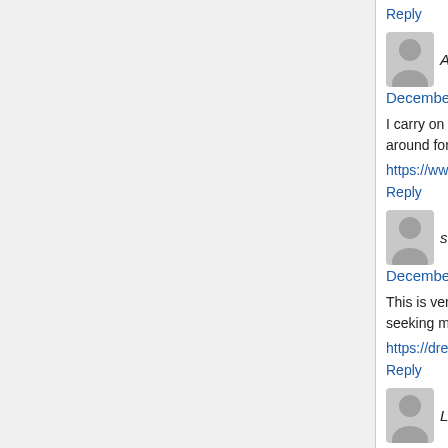Reply
Autoöffnung says:
December 11, 2020 at 10:12 am
I carry on listening to the reports lecture about g... around for the most excellent site to get one. Co...
https://www.schlüsseldienst-mangjolli.de/
Reply
software development company in usa sa...
December 11, 2020 at 10:20 am
This is very interesting, You are a very skilled bl... seeking more of your fantastic post. Also, I've sh...
https://dreamztechusa.com/
Reply
Link vao VN88 says:
December 11, 2020 at 5:06 pm
Go to Pure CBD Selection for the best pure cbd...